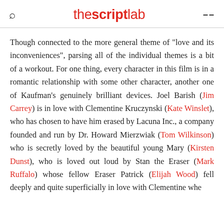thescriptlab
Though connected to the more general theme of "love and its inconveniences", parsing all of the individual themes is a bit of a workout. For one thing, every character in this film is in a romantic relationship with some other character, another one of Kaufman's genuinely brilliant devices. Joel Barish (Jim Carrey) is in love with Clementine Kruczynski (Kate Winslet), who has chosen to have him erased by Lacuna Inc., a company founded and run by Dr. Howard Mierzwiak (Tom Wilkinson) who is secretly loved by the beautiful young Mary (Kirsten Dunst), who is loved out loud by Stan the Eraser (Mark Ruffalo) whose fellow Eraser Patrick (Elijah Wood) fell deeply and quite superficially in love with Clementine when...